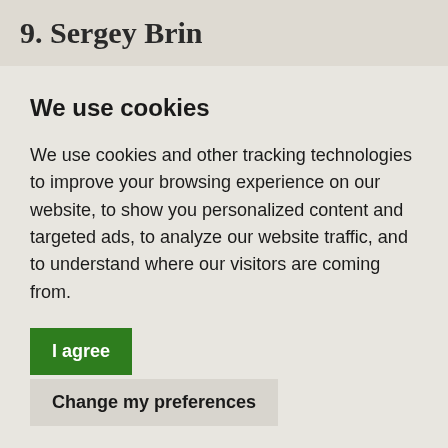9. Sergey Brin
We use cookies
We use cookies and other tracking technologies to improve your browsing experience on our website, to show you personalized content and targeted ads, to analyze our website traffic, and to understand where our visitors are coming from.
I agree
Change my preferences